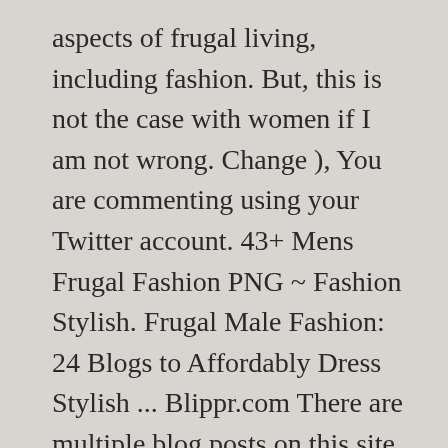aspects of frugal living, including fashion. But, this is not the case with women if I am not wrong. Change ), You are commenting using your Twitter account. 43+ Mens Frugal Fashion PNG ~ Fashion Stylish. Frugal Male Fashion: 24 Blogs to Affordably Dress Stylish ... Blippr.com There are multiple blog posts on this site that offer a variety of tips to help the frugal man dress stylish. Barnes & Noble 4th of July Sale ~ Save 45% on Endless Summer Fun! Clothing to get excited about.Mens Hair Styles 2015 Submitted by Czechr r/frugalmalefashion: The place for coupons, discounts, sales, and deals when it comes to male fashion. Meeeow. This entry was posted in General and tagged